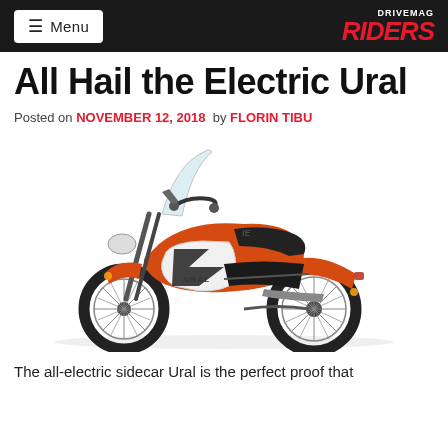DRIVEMAG RIDERS — Menu
All Hail the Electric Ural
Posted on NOVEMBER 12, 2018  by FLORIN TIBU
[Figure (photo): Orange Ural electric sidecar motorcycle on white background, side profile view showing large front windscreen, spoke wheels, black seat, and white battery housing panel with URAL branding]
The all-electric sidecar Ural is the perfect proof that